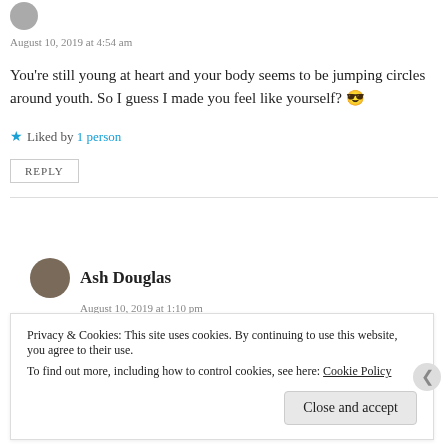August 10, 2019 at 4:54 am
You're still young at heart and your body seems to be jumping circles around youth. So I guess I made you feel like yourself? 😎
★ Liked by 1 person
REPLY
Ash Douglas
August 10, 2019 at 1:10 pm
Privacy & Cookies: This site uses cookies. By continuing to use this website, you agree to their use. To find out more, including how to control cookies, see here: Cookie Policy
Close and accept